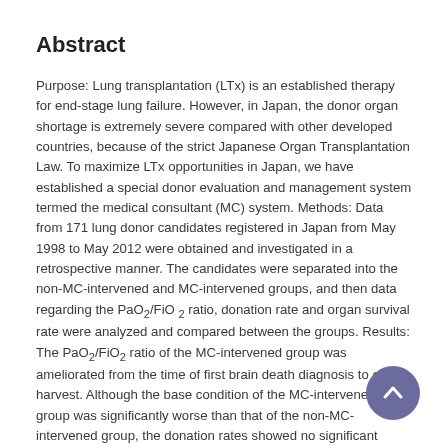Abstract
Purpose: Lung transplantation (LTx) is an established therapy for end-stage lung failure. However, in Japan, the donor organ shortage is extremely severe compared with other developed countries, because of the strict Japanese Organ Transplantation Law. To maximize LTx opportunities in Japan, we have established a special donor evaluation and management system termed the medical consultant (MC) system. Methods: Data from 171 lung donor candidates registered in Japan from May 1998 to May 2012 were obtained and investigated in a retrospective manner. The candidates were separated into the non-MC-intervened and MC-intervened groups, and then data regarding the PaO2/FiO 2 ratio, donation rate and organ survival rate were analyzed and compared between the groups. Results: The PaO2/FiO2 ratio of the MC-intervened group was ameliorated from the time of first brain death diagnosis to organ harvest. Although the base condition of the MC-intervened group was significantly worse than that of the non-MC-intervened group, the donation rates showed no significant difference (0.64 and 0.66, respectively; p = 0.89). There was a difference in the organ survival rate between the non-MC and